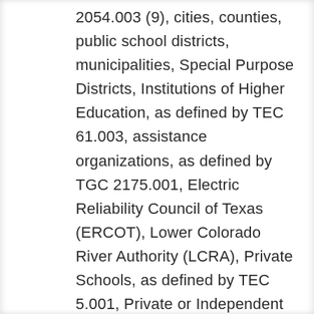2054.003 (9), cities, counties, public school districts, municipalities, Special Purpose Districts, Institutions of Higher Education, as defined by TEC 61.003, assistance organizations, as defined by TGC 2175.001, Electric Reliability Council of Texas (ERCOT), Lower Colorado River Authority (LCRA), Private Schools, as defined by TEC 5.001, Private or Independent Institutions of Higher Education, as defined by TEC 61.003, Volunteer Fire Departments, as defined by TTC 152.001, Public Safety Entities, as defined by 47 U.S.C. Section 1401, County hospitals, public hospitals or hospital districts, and public entities outside Texas, as defined by TGC